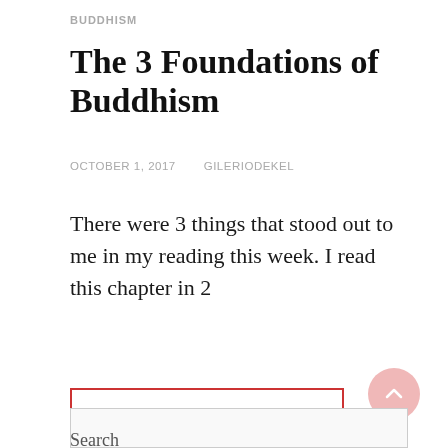BUDDHISM
The 3 Foundations of Buddhism
OCTOBER 1, 2017   GILERIODEKEL
There were 3 things that stood out to me in my reading this week. I read this chapter in 2
CONTINUE READING
Search